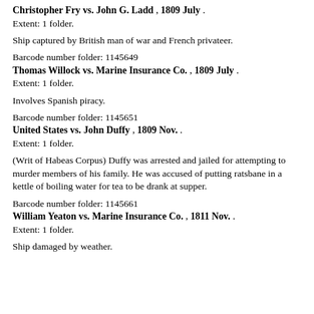Christopher Fry vs. John G. Ladd , 1809 July . Extent: 1 folder.
Ship captured by British man of war and French privateer.
Barcode number folder: 1145649
Thomas Willock vs. Marine Insurance Co. , 1809 July . Extent: 1 folder.
Involves Spanish piracy.
Barcode number folder: 1145651
United States vs. John Duffy , 1809 Nov. . Extent: 1 folder.
(Writ of Habeas Corpus) Duffy was arrested and jailed for attempting to murder members of his family. He was accused of putting ratsbane in a kettle of boiling water for tea to be drank at supper.
Barcode number folder: 1145661
William Yeaton vs. Marine Insurance Co. , 1811 Nov. . Extent: 1 folder.
Ship damaged by weather.